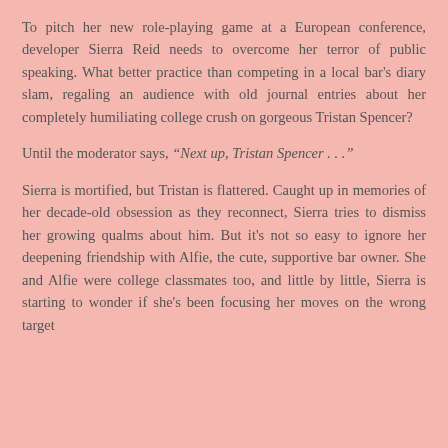To pitch her new role-playing game at a European conference, developer Sierra Reid needs to overcome her terror of public speaking. What better practice than competing in a local bar's diary slam, regaling an audience with old journal entries about her completely humiliating college crush on gorgeous Tristan Spencer?
Until the moderator says, “Next up, Tristan Spencer . . .”
Sierra is mortified, but Tristan is flattered. Caught up in memories of her decade-old obsession as they reconnect, Sierra tries to dismiss her growing qualms about him. But it’s not so easy to ignore her deepening friendship with Alfie, the cute, supportive bar owner. She and Alfie were college classmates too, and little by little, Sierra is starting to wonder if she’s been focusing her moves on the wrong target